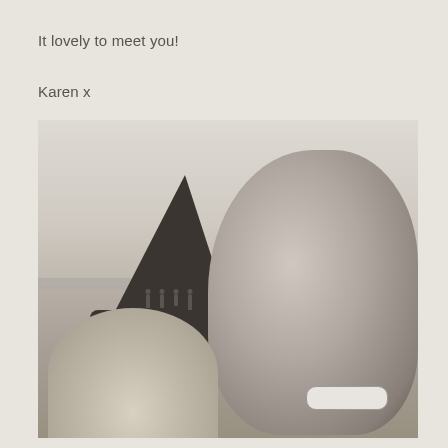It lovely to meet you!

Karen x
[Figure (photo): Black and white selfie photo of two people on a beach. On the right is a smiling bald man with a beard. On the lower left is a blonde woman (partially visible, mostly showing the top of her head). In the background is a large sea stack rock (Haystack Rock at Cannon Beach, Oregon), misty ocean, and several small figures walking on the beach.]